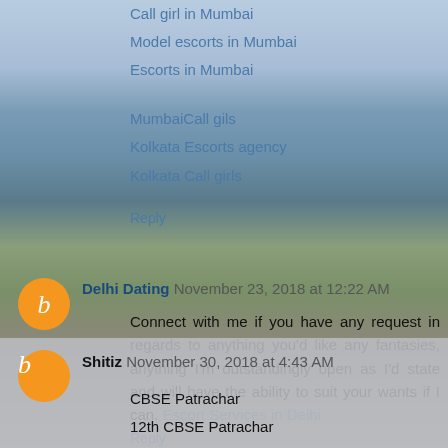Call girl in Mumbai
Model escorts in Mumbai
Escorts in Mumbai
MumbaiCall gils
Kolkata Escorts agency
Kolkata Call girls
Reply
Delhi Dating November 23, 2018 at 12:22 AM
Connect with me if you have any request in regards to anything you'd like any fantasies, anything I'm outstandingly open as I'd state and will have the ability to suit your wants if I can. Escort Services in Delhi
Reply
Shitiz November 30, 2018 at 4:43 AM
CBSE Patrachar
12th CBSE Patrachar